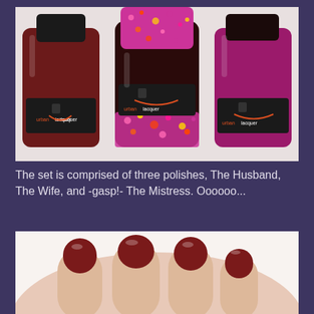[Figure (photo): Three Urban Lacquer nail polish bottles side by side. Left and right bottles contain dark red/burgundy polish; center bottle contains colorful glitter/sequin topper. All bottles have black caps with the Urban Lacquer logo.]
The set is comprised of three polishes, The Husband, The Wife, and -gasp!- The Mistress. Oooooo...
[Figure (photo): Close-up of a hand showing fingernails painted with a dark burgundy/oxblood nail polish.]